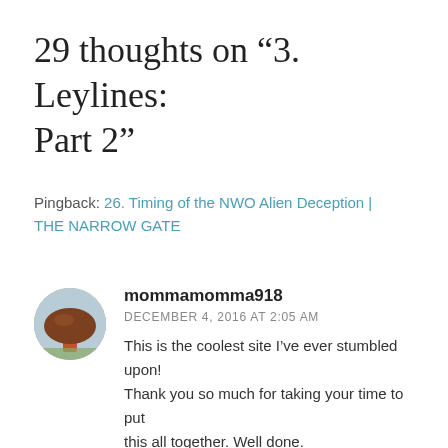29 thoughts on “3. Leylines: Part 2”
Pingback: 26. Timing of the NWO Alien Deception | THE NARROW GATE
mommamomma918
DECEMBER 4, 2016 AT 2:05 AM
This is the coolest site I’ve ever stumbled upon! Thank you so much for taking your time to put this all together. Well done.